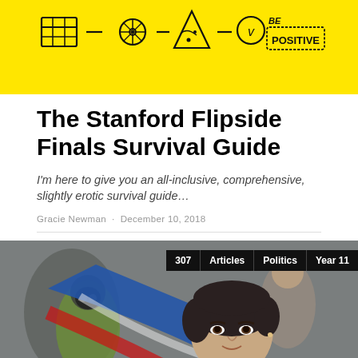[Figure (illustration): Yellow banner with hand-drawn doodles: a grid/calendar, a bicycle wheel, a pizza slice, a clock with 'V', and 'Be Positive' text in black on yellow background]
The Stanford Flipside Finals Survival Guide
I'm here to give you an all-inclusive, comprehensive, slightly erotic survival guide…
Gracie Newman · December 10, 2018
[Figure (photo): Photo of a young woman with short dark hair in the foreground looking upward, holding a blue and red/white cloth or flag. Behind her is a person in a green vest and gas mask. Tags overlay the top right: 307, Articles, Politics, Year 11.]